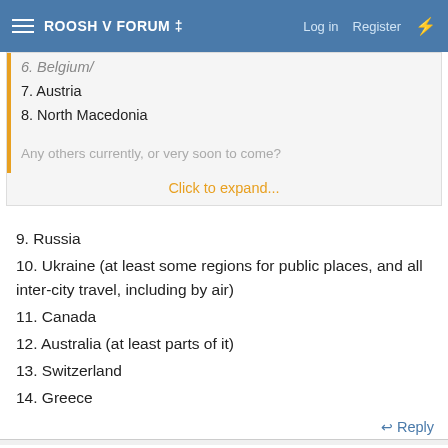ROOSH V FORUM ‡ | Log in | Register
6. Belgium/ (clipped/partial)
7. Austria
8. North Macedonia
Any others currently, or very soon to come?
Click to expand...
9. Russia
10. Ukraine (at least some regions for public places, and all inter-city travel, including by air)
11. Canada
12. Australia (at least parts of it)
13. Switzerland
14. Greece
↩ Reply